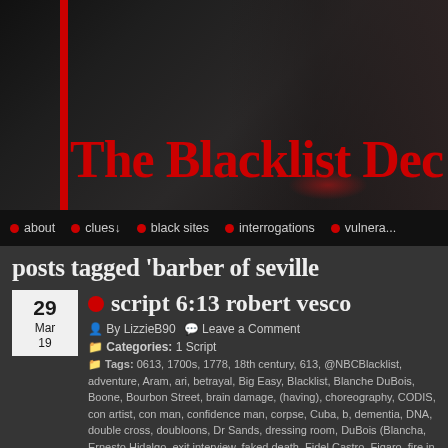[Figure (screenshot): Header area with dark moody background showing silhouette of man in hat, red vertical bar on left, site title 'The Blacklist Dec...' in large red text]
about | clues↓ | black sites | interrogations | vulnera...
posts tagged 'barber of seville
script 6:13 robert vesco
By LizzieB90   Leave a Comment
Categories: 1 Script
Tags: 0613, 1700s, 1778, 18th century, 613, @NBCBlacklist, adventure, Aram, ari, betrayal, Big Easy, Blacklist, Blanche DuBois, Boone, Bourbon Street, brain damage, (having), choreography, CODIS, con artist, con man, confidence man, corpse, Cuba, b, dementia, DNA, double cross, doubloons, Dr Sands, dressing room, DuBois (Blancha, Ernesto Hidalgo, exit interview, faked death, Fidel Castro, Figaro, fire in a crowded t, Glen Carter, gold, gold bars, greed and avarice (Sworn off), having children, Hell Ga, strangers, inner peace, Israel, Italian opera, James Spader, jazz, Jelly Bean, Judith Sne, factotum, Levi Shur, Levi's business card, Library of Congress, lie detector test, Liz,